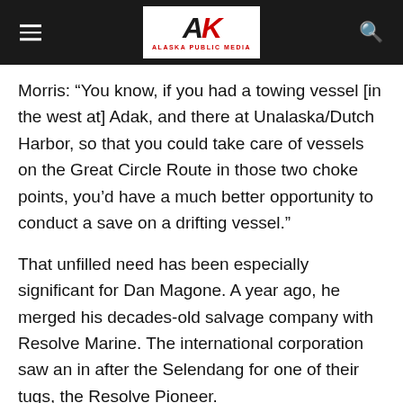Alaska Public Media
Morris: “You know, if you had a towing vessel [in the west at] Adak, and there at Unalaska/Dutch Harbor, so that you could take care of vessels on the Great Circle Route in those two choke points, you’d have a much better opportunity to conduct a save on a drifting vessel.”
That unfilled need has been especially significant for Dan Magone. A year ago, he merged his decades-old salvage company with Resolve Marine. The international corporation saw an in after the Selendang for one of their tugs, the Resolve Pioneer.
Magone: “Resolve thought, well, if we could hook up with Magone and use his facility and do what he’s been doing to try and make income any way we can so that we can have a